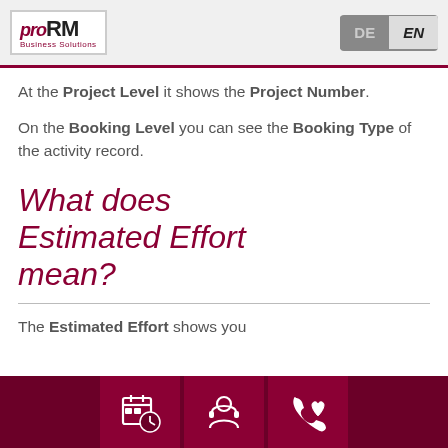proRM Business Solutions | DE | EN
At the Project Level it shows the Project Number.
On the Booking Level you can see the Booking Type of the activity record.
What does Estimated Effort mean?
The Estimated Effort shows you the continuation of the project...
Navigation icons: calendar, support, contact